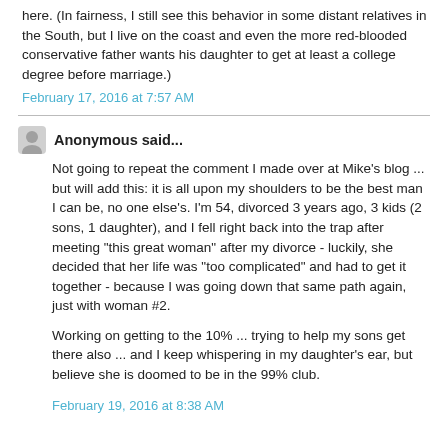here. (In fairness, I still see this behavior in some distant relatives in the South, but I live on the coast and even the more red-blooded conservative father wants his daughter to get at least a college degree before marriage.)
February 17, 2016 at 7:57 AM
Anonymous said...
Not going to repeat the comment I made over at Mike's blog ... but will add this: it is all upon my shoulders to be the best man I can be, no one else's. I'm 54, divorced 3 years ago, 3 kids (2 sons, 1 daughter), and I fell right back into the trap after meeting "this great woman" after my divorce - luckily, she decided that her life was "too complicated" and had to get it together - because I was going down that same path again, just with woman #2.

Working on getting to the 10% ... trying to help my sons get there also ... and I keep whispering in my daughter's ear, but believe she is doomed to be in the 99% club.
February 19, 2016 at 8:38 AM